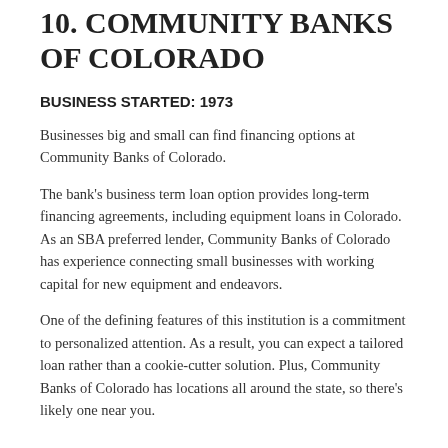10. COMMUNITY BANKS OF COLORADO
BUSINESS STARTED: 1973
Businesses big and small can find financing options at Community Banks of Colorado.
The bank's business term loan option provides long-term financing agreements, including equipment loans in Colorado. As an SBA preferred lender, Community Banks of Colorado has experience connecting small businesses with working capital for new equipment and endeavors.
One of the defining features of this institution is a commitment to personalized attention. As a result, you can expect a tailored loan rather than a cookie-cutter solution. Plus, Community Banks of Colorado has locations all around the state, so there's likely one near you.